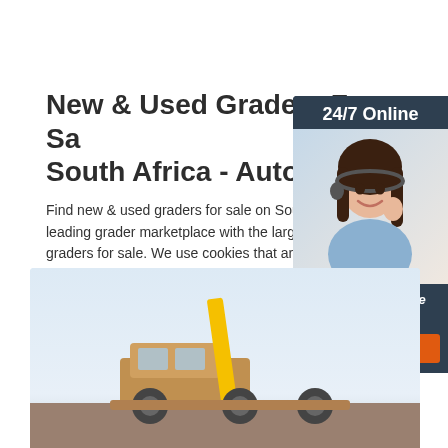New & Used Graders For Sale South Africa - AutoTrader
Find new & used graders for sale on South Afr leading grader marketplace with the largest se graders for sale. We use cookies that are esse
Get Price
[Figure (photo): Advertisement widget showing a woman with headset smiling, with '24/7 Online' header, 'Click here for free chat!' text, and an orange QUOTATION button, on a dark blue-gray background.]
[Figure (photo): Bottom section showing a yellow construction grader/road grader vehicle against a light blue sky background.]